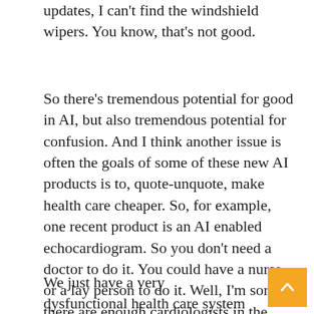updates, I can't find the windshield wipers. You know, that's not good.
So there's tremendous potential for good in AI, but also tremendous potential for confusion. And I think another issue is often the goals of some of these new AI products is to, quote-unquote, make health care cheaper. So, for example, one recent product is an AI enabled echocardiogram. So you don't need a doctor to do it. You could have a nurse or a lay person to do it. Well, I'm sorry, there are enough cardiologists in the United States that everyone should be able to get a cardiologist doing their echocardiogram.
We just have a very dysfunctional health care system where that's not the case. So, you know, may deliver good health care, but not quite as good